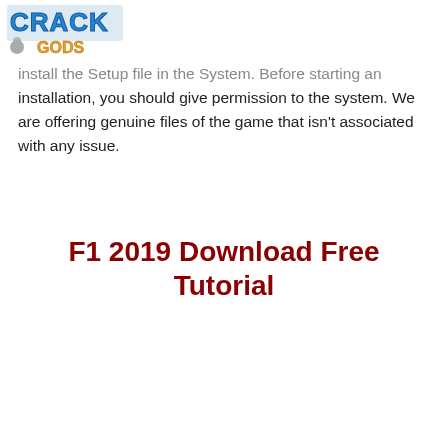[Figure (logo): CrackGods website logo with stylized graffiti text and a small figure/character]
install the Setup file in the System. Before starting an installation, you should give permission to the system. We are offering genuine files of the game that isn't associated with any issue.
F1 2019 Download Free Tutorial